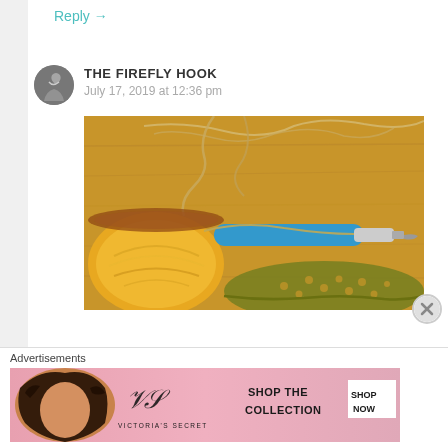Reply →
THE FIREFLY HOOK
July 17, 2019 at 12:36 pm
[Figure (photo): Photo of crochet work in progress on a wooden table: a yellow yarn ball in a bowl, a blue-handled crochet hook, and an olive/green lace crochet piece, with loose yarn strands across the surface.]
Advertisements
[Figure (screenshot): Victoria's Secret advertisement banner showing a model with curly hair on a pink gradient background, with the Victoria's Secret logo and text 'SHOP THE COLLECTION' and a white 'SHOP NOW' button.]